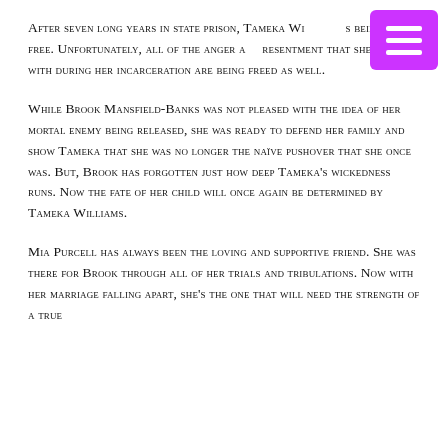After seven long years in state prison, Tameka Wi[lliams] [i]s being set free. Unfortunately, all of the anger a[nd] resentment that she's lived with during her incarceration are being freed as well.
While Brook Mansfield-Banks was not pleased with the idea of her mortal enemy being released, she was ready to defend her family and show Tameka that she was no longer the naïve pushover that she once was. But, Brook has forgotten just how deep Tameka's wickedness runs. Now the fate of her child will once again be determined by Tameka Williams.
Mia Purcell has always been the loving and supportive friend. She was there for Brook through all of her trials and tribulations. Now with her marriage falling apart, she's the one that will need the strength of a true [friend].